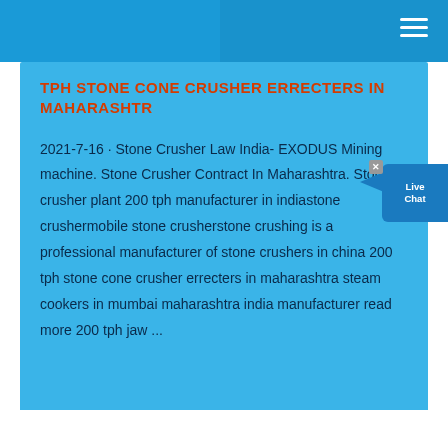TPH STONE CONE CRUSHER ERRECTERS IN MAHARASHTR
2021-7-16 · Stone Crusher Law India- EXODUS Mining machine. Stone Crusher Contract In Maharashtra. Stone crusher plant 200 tph manufacturer in indiastone crushermobile stone crusherstone crushing is a professional manufacturer of stone crushers in china 200 tph stone cone crusher errecters in maharashtra steam cookers in mumbai maharashtra india manufacturer read more 200 tph jaw ...